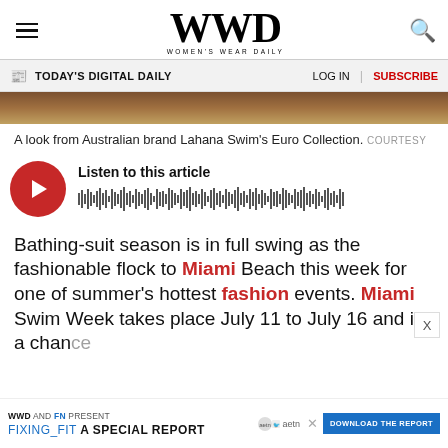WWD WOMEN'S WEAR DAILY
TODAY'S DIGITAL DAILY  LOG IN  SUBSCRIBE
[Figure (photo): Partial view of a fashion/swimwear editorial photo from Lahana Swim's Euro Collection]
A look from Australian brand Lahana Swim's Euro Collection. COURTESY
[Figure (other): Audio player widget with red play button and waveform visualization. Label: Listen to this article]
Bathing-suit season is in full swing as the fashionable flock to Miami Beach this week for one of summer's hottest fashion events. Miami Swim Week takes place July 11 to July 16 and is a chance
WWD AND FN PRESENT FIXING_FIT A SPECIAL REPORT DOWNLOAD THE REPORT